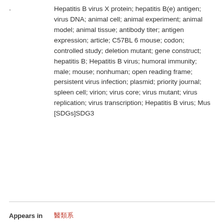Hepatitis B virus X protein; hepatitis B(e) antigen; virus DNA; animal cell; animal experiment; animal model; animal tissue; antibody titer; antigen expression; article; C57BL 6 mouse; codon; controlled study; deletion mutant; gene construct; hepatitis B; Hepatitis B virus; humoral immunity; male; mouse; nonhuman; open reading frame; persistent virus infection; plasmid; priority journal; spleen cell; virion; virus core; virus mutant; virus replication; virus transcription; Hepatitis B virus; Mus [SDGs]SDG3
Appears in